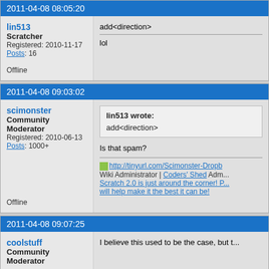2011-04-08 08:05:20
lin513
Scratcher
Registered: 2010-11-17
Posts: 16
Offline
add<direction>
lol
2011-04-08 09:03:02
scimonster
Community Moderator
Registered: 2010-06-13
Posts: 1000+
Offline
lin513 wrote:
add<direction>
Is that spam?
Wiki Administrator | Coders' Shed Adm...
Scratch 2.0 is just around the corner! P...
will help make it the best it can be!
2011-04-08 09:07:25
coolstuff
Community Moderator
I believe this used to be the case, but t...